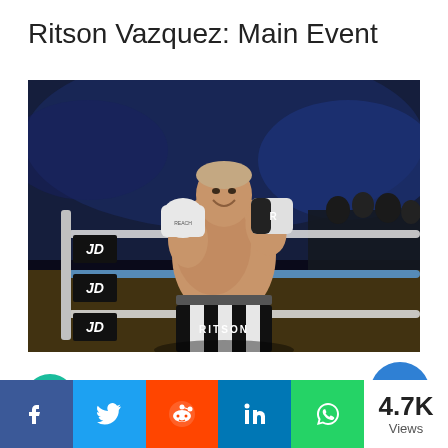Ritson Vazquez: Main Event
[Figure (photo): Boxer in black and white striped shorts labeled RITSON, standing in a boxing ring with JD Sports branding on the ropes, smiling and holding up his gloves. Arena crowd visible in the background with blue lighting.]
4.7K Views